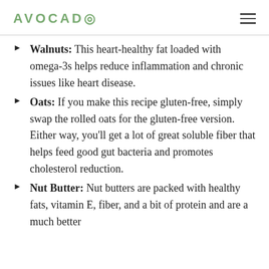AVOCADO
Walnuts: This heart-healthy fat loaded with omega-3s helps reduce inflammation and chronic issues like heart disease.
Oats: If you make this recipe gluten-free, simply swap the rolled oats for the gluten-free version. Either way, you'll get a lot of great soluble fiber that helps feed good gut bacteria and promotes cholesterol reduction.
Nut Butter: Nut butters are packed with healthy fats, vitamin E, fiber, and a bit of protein and are a much better